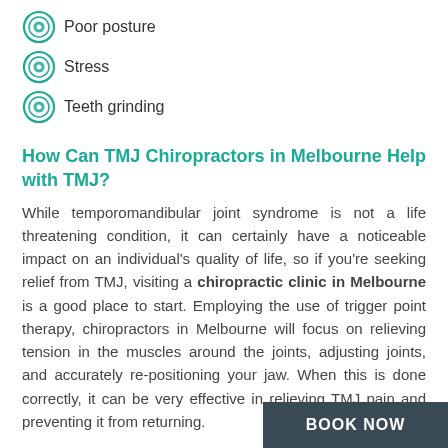Poor posture
Stress
Teeth grinding
How Can TMJ Chiropractors in Melbourne Help with TMJ?
While temporomandibular joint syndrome is not a life threatening condition, it can certainly have a noticeable impact on an individual's quality of life, so if you're seeking relief from TMJ, visiting a chiropractic clinic in Melbourne is a good place to start. Employing the use of trigger point therapy, chiropractors in Melbourne will focus on relieving tension in the muscles around the joints, adjusting joints, and accurately re-positioning your jaw. When this is done correctly, it can be very effective in relieving TMJ pain and preventing it from returning.
Other Tips to Help Alleviate TMJ
In addition to visiting a chiropractic c…